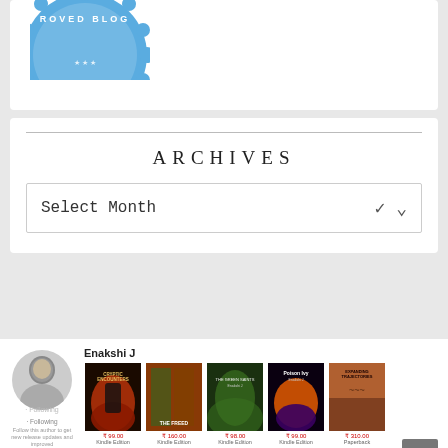[Figure (logo): Blue badge/seal with text 'APPROVED BLOG' partially visible at top]
ARCHIVES
Select Month
[Figure (photo): Black and white portrait photo of a woman (Enakshi J), circular crop]
Enakshi J
• Following
Follow this author to get new release updates and improved recommendations.
[Figure (photo): Book covers shown in a row: Cryptic Encounters, The Freed, The Green Saints, Poison Ivy, Expanding Trajectories]
₹ 99.00  Kindle Edition  ₹ 160.00  Kindle Edition  ₹ 98.00  Kindle Edition  ₹ 99.00  Kindle Edition  ₹ 310.00  Paperback